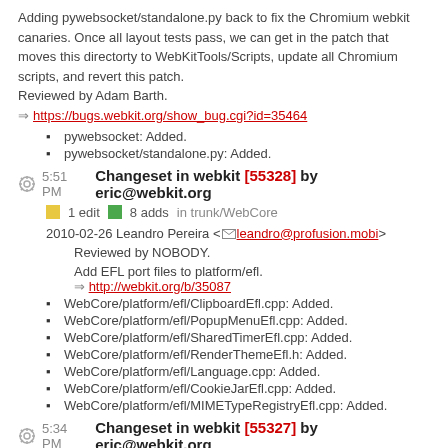Adding pywebsocket/standalone.py back to fix the Chromium webkit canaries. Once all layout tests pass, we can get in the patch that moves this directorty to WebKitTools/Scripts, update all Chromium scripts, and revert this patch.
Reviewed by Adam Barth.
=> https://bugs.webkit.org/show_bug.cgi?id=35464
pywebsocket: Added.
pywebsocket/standalone.py: Added.
5:51 PM Changeset in webkit [55328] by eric@webkit.org
1 edit  8 adds  in trunk/WebCore
2010-02-26 Leandro Pereira <leandro@profusion.mobi>
Reviewed by NOBODY.
Add EFL port files to platform/efl.
=> http://webkit.org/b/35087
WebCore/platform/efl/ClipboardEfl.cpp: Added.
WebCore/platform/efl/PopupMenuEfl.cpp: Added.
WebCore/platform/efl/SharedTimerEfl.cpp: Added.
WebCore/platform/efl/RenderThemeEfl.h: Added.
WebCore/platform/efl/Language.cpp: Added.
WebCore/platform/efl/CookieJarEfl.cpp: Added.
WebCore/platform/efl/MIMETypeRegistryEfl.cpp: Added.
5:34 PM Changeset in webkit [55327] by eric@webkit.org